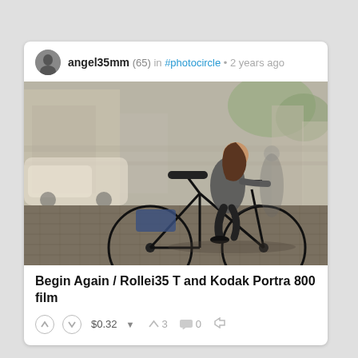angel35mm (65) in #photocircle • 2 years ago
[Figure (photo): A woman riding a Dutch city bicycle on a cobblestone square, motion-blur background suggesting movement, warm film photography aesthetic, likely shot with panning technique]
Begin Again / Rollei35 T and Kodak Portra 800 film
$0.32  3  0